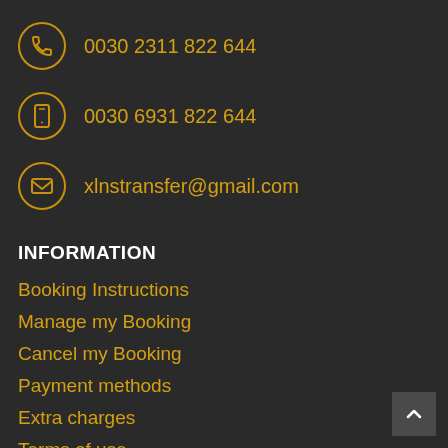0030 2311 822 644
0030 6931 822 644
xlnstransfer@gmail.com
INFORMATION
Booking Instructions
Manage my Booking
Cancel my Booking
Payment methods
Extra charges
Terms of use